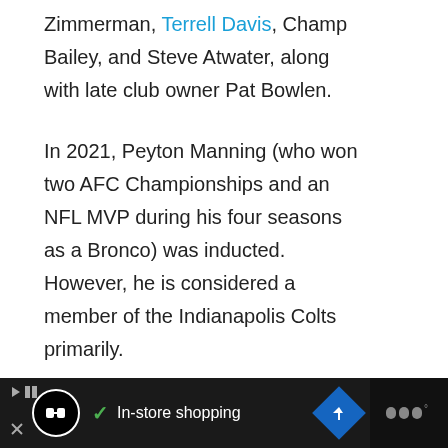Zimmerman, Terrell Davis, Champ Bailey, and Steve Atwater, along with late club owner Pat Bowlen.
In 2021, Peyton Manning (who won two AFC Championships and an NFL MVP during his four seasons as a Bronco) was inducted. However, he is considered a member of the Indianapolis Colts primarily.
[Figure (screenshot): UI elements: heart/like button (blue circle with heart icon), count '1', share button (circle with share icon). Ad bar at bottom with black background, circular logo icon, checkmark, 'In-store shopping' text, blue diamond arrow icon, and dark right panel.]